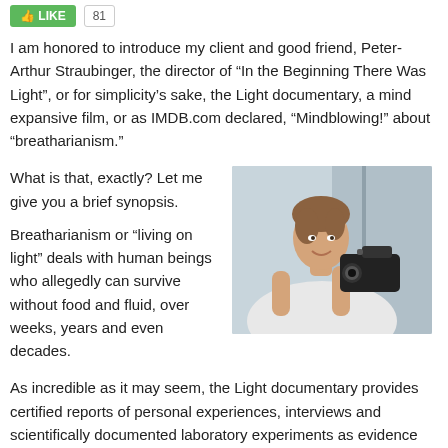[Figure (other): Green like/share button and count badge in top bar]
I am honored to introduce my client and good friend, Peter-Arthur Straubinger, the director of “In the Beginning There Was Light”, or for simplicity’s sake, the Light documentary, a mind expansive film, or as IMDB.com declared, “Mindblowing!” about “breatharianism.”
What is that, exactly? Let me give you a brief synopsis.
[Figure (photo): Photo of a young man holding a professional video camera, wearing a white hoodie, smiling slightly, against a bright background.]
Breatharianism or “living on light” deals with human beings who allegedly can survive without food and fluid, over weeks, years and even decades.
As incredible as it may seem, the Light documentary provides certified reports of personal experiences, interviews and scientifically documented laboratory experiments as evidence that there are people living today who do not need food either to live or to sustain their metabolism. They live on “light” alone. Depending on the tradition this “light” may be called PRANA